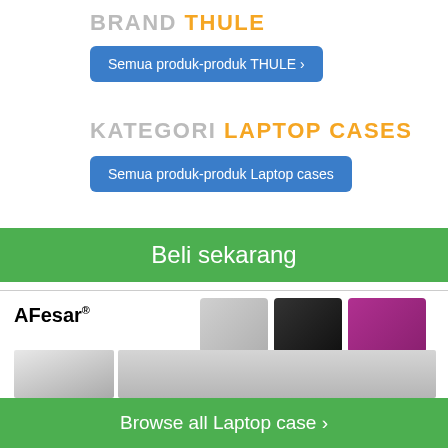BRAND THULE
Semua produk-produk THULE ›
KATEGORI LAPTOP CASES
Semua produk-produk Laptop cases
Beli sekarang
[Figure (photo): AFesar branded laptop bags shown in gray, black, and purple/pink colors, with a person carrying a gray shoulder bag and a close-up of a gray laptop bag with strap]
Browse all Laptop case ›